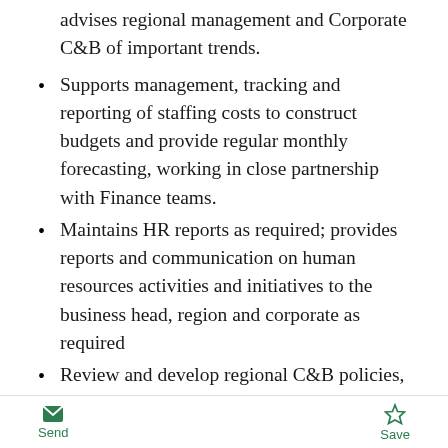advises regional management and Corporate C&B of important trends.
Supports management, tracking and reporting of staffing costs to construct budgets and provide regular monthly forecasting, working in close partnership with Finance teams.
Maintains HR reports as required; provides reports and communication on human resources activities and initiatives to the business head, region and corporate as required
Review and develop regional C&B policies, procedures and guidelines. Monitor its effectiveness and efficiency
Support Workday related administration Compensation and being the HR Partner for HR in HK based
Lead the team of 3 and oversee HK payroll and C&B operations
Send  Save